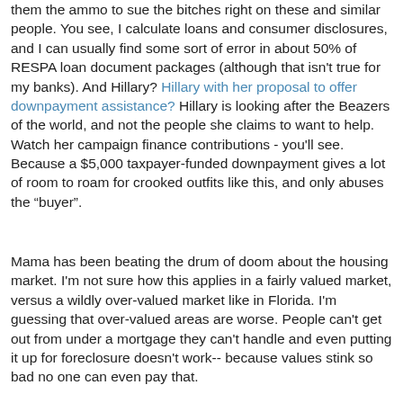them the ammo to sue the bitches right on these and similar people. You see, I calculate loans and consumer disclosures, and I can usually find some sort of error in about 50% of RESPA loan document packages (although that isn't true for my banks). And Hillary? Hillary with her proposal to offer downpayment assistance? Hillary is looking after the Beazers of the world, and not the people she claims to want to help. Watch her campaign finance contributions - you'll see. Because a $5,000 taxpayer-funded downpayment gives a lot of room to roam for crooked outfits like this, and only abuses the "buyer".
Mama has been beating the drum of doom about the housing market. I'm not sure how this applies in a fairly valued market, versus a wildly over-valued market like in Florida. I'm guessing that over-valued areas are worse. People can't get out from under a mortgage they can't handle and even putting it up for foreclosure doesn't work-- because values stink so bad no one can even pay that.